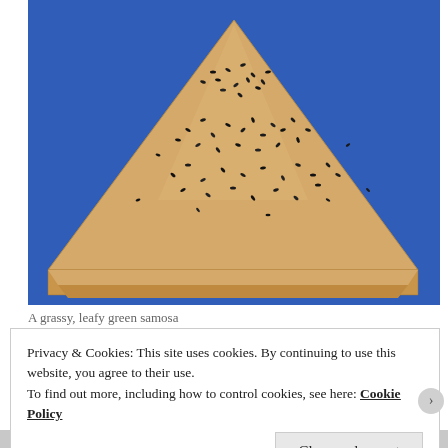[Figure (photo): A triangular samosa with black sesame seeds scattered on top, photographed against a bright blue background. The pastry is golden-brown and crispy looking.]
A grassy, leafy green samosa
Privacy & Cookies: This site uses cookies. By continuing to use this website, you agree to their use.
To find out more, including how to control cookies, see here: Cookie Policy
Close and accept